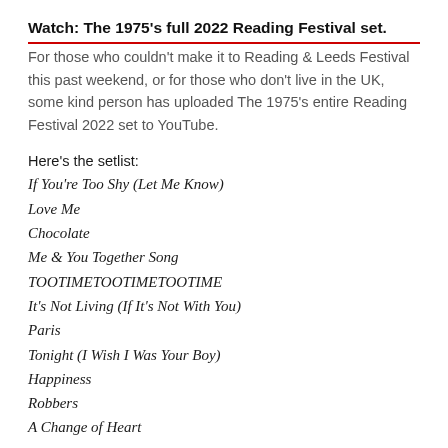Watch: The 1975's full 2022 Reading Festival set.
For those who couldn't make it to Reading & Leeds Festival this past weekend, or for those who don't live in the UK, some kind person has uploaded The 1975's entire Reading Festival 2022 set to YouTube.
Here's the setlist:
If You're Too Shy (Let Me Know)
Love Me
Chocolate
Me & You Together Song
TOOTIMETOOTIMETOOTIME
It's Not Living (If It's Not With You)
Paris
Tonight (I Wish I Was Your Boy)
Happiness
Robbers
A Change of Heart